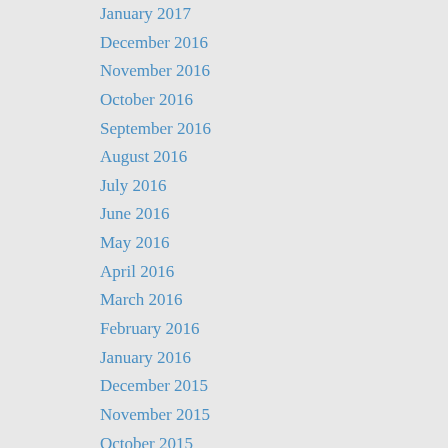January 2017
December 2016
November 2016
October 2016
September 2016
August 2016
July 2016
June 2016
May 2016
April 2016
March 2016
February 2016
January 2016
December 2015
November 2015
October 2015
September 2015
August 2015
July 2015
June 2015